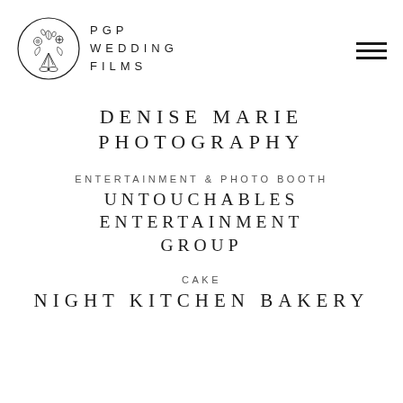[Figure (logo): PGP Wedding Films logo: circular border with illustrated floral bouquet inside, and brand name 'PGP WEDDING FILMS' in spaced caps beside it, with a hamburger menu icon to the right]
DENISE MARIE PHOTOGRAPHY
ENTERTAINMENT & PHOTO BOOTH
UNTOUCHABLES ENTERTAINMENT GROUP
CAKE
NIGHT KITCHEN BAKERY